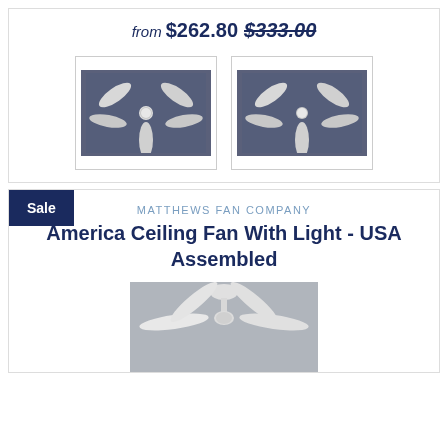from $262.80 $333.00
[Figure (photo): Two ceiling fan product thumbnail images on dark slate-blue backgrounds, showing white ceiling fans with 5 blades]
Sale
MATTHEWS FAN COMPANY
America Ceiling Fan With Light - USA Assembled
[Figure (photo): White ceiling fan with 4 blades on a gray background, product main image]